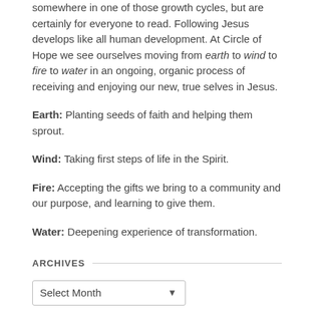somewhere in one of those growth cycles, but are certainly for everyone to read. Following Jesus develops like all human development. At Circle of Hope we see ourselves moving from earth to wind to fire to water in an ongoing, organic process of receiving and enjoying our new, true selves in Jesus.
Earth: Planting seeds of faith and helping them sprout.
Wind: Taking first steps of life in the Spirit.
Fire: Accepting the gifts we bring to a community and our purpose, and learning to give them.
Water: Deepening experience of transformation.
ARCHIVES
Select Month
TAGS